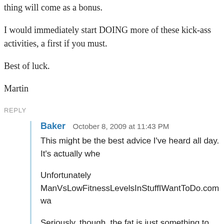thing will come as a bonus.
I would immediately start DOING more of these kick-ass activities, a first if you must.
Best of luck.
Martin
REPLY
Baker   October 8, 2009 at 11:43 PM
This might be the best advice I've heard all day. It's actually whe
Unfortunately ManVsLowFitnessLevelsInStuffIWantToDo.com wa
Seriously, though, the fat is just something to leverage to drive m everything you've laid out above. Not focused on weight or imag
REPLY